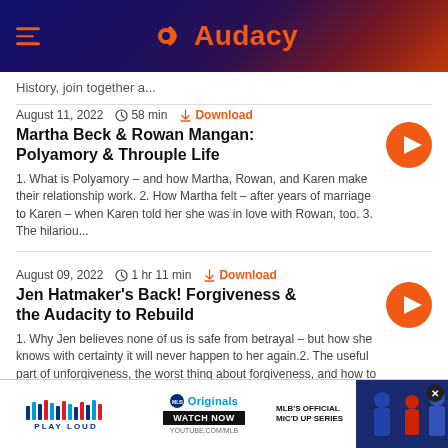Audacy
History, join together a...
August 11, 2022  ⏱ 58 min  ⬇ Download
Martha Beck & Rowan Mangan: Polyamory & Throuple Life
1. What is Polyamory – and how Martha, Rowan, and Karen make their relationship work. 2. How Martha felt – after years of marriage to Karen – when Karen told her she was in love with Rowan, too. 3. The hilariou...
August 09, 2022  ⏱ 1 hr 11 min  ⬇ Download
Jen Hatmaker's Back! Forgiveness & the Audacity to Rebuild
1. Why Jen believes none of us is safe from betrayal – but how she knows with certainty it will never happen to her again.2. The useful part of unforgiveness, the worst thing about forgiveness, and how to know...
[Figure (screenshot): MLB Play Loud Originals ad banner: Play Loud logo, MLB Originals Watch Now on YouTube, MLB's Official Mic'd Up Series, baseball players photo]